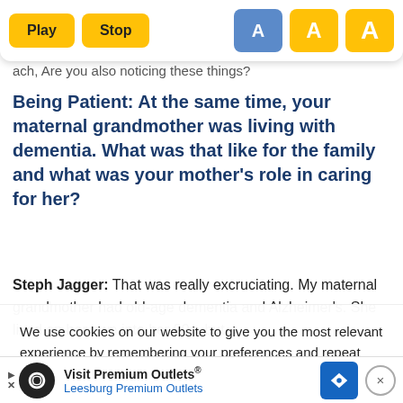[Figure (screenshot): Web page toolbar with Play, Stop audio buttons and three font-size 'A' buttons (small, medium active/blue, large).]
something really going on here? From that stage, I'll
ach, Are you also noticing these things?
Being Patient: At the same time, your maternal grandmother was living with dementia. What was that like for the family and what was your mother's role in caring for her?
Steph Jagger: That was really excruciating. My maternal grandmother had old-age dementia and Alzheimer's. She lived on her own into her 90s, but
We use cookies on our website to give you the most relevant experience by remembering your preferences and repeat visits. By clicking “Accept”, you consent to the use of ALL the cookies.
Cook
[Figure (screenshot): Advertisement banner: Visit Premium Outlets® Leesburg Premium Outlets with logo and navigation icon.]